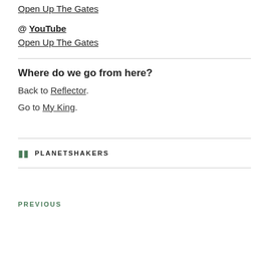Open Up The Gates
@ YouTube
Open Up The Gates
Where do we go from here?
Back to Reflector.
Go to My King.
PLANETSHAKERS
PREVIOUS